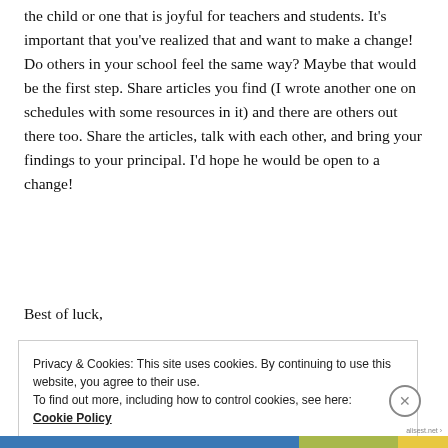the child or one that is joyful for teachers and students. It's important that you've realized that and want to make a change! Do others in your school feel the same way? Maybe that would be the first step. Share articles you find (I wrote another one on schedules with some resources in it) and there are others out there too. Share the articles, talk with each other, and bring your findings to your principal. I'd hope he would be open to a change!
Best of luck,
Privacy & Cookies: This site uses cookies. By continuing to use this website, you agree to their use.
To find out more, including how to control cookies, see here:
Cookie Policy